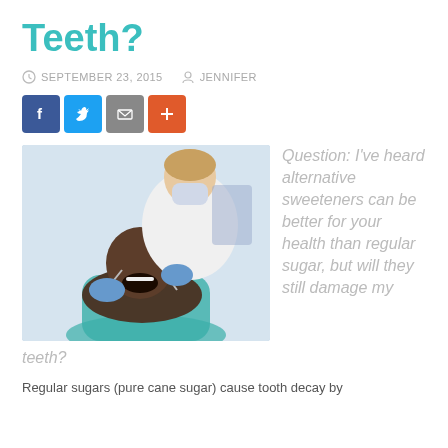Teeth?
SEPTEMBER 23, 2015   JENNIFER
[Figure (illustration): Social media sharing buttons: Facebook (blue), Twitter (light blue), Email (gray), Plus/More (orange)]
[Figure (photo): A dental hygienist wearing a white coat and blue gloves examines a patient in a dental chair. The patient has his mouth open and the hygienist uses dental tools.]
Question: I've heard alternative sweeteners can be better for your health than regular sugar, but will they still damage my teeth?
Regular sugars (pure cane sugar) cause tooth decay by...